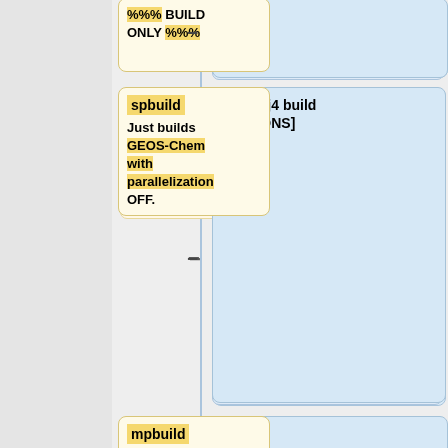[Figure (flowchart): A vertical timeline/flowchart showing build commands for GEOS-Chem. Left column contains yellow boxes with command names and descriptions; right column contains blue boxes with make commands or output descriptions. Rows: 1) %%%BUILD ONLY%%% / (no right box visible top); 2) spbuild - Just builds GEOS-Chem with parallelization OFF / make -j4 build [OPTIONS]; 3) mpbuild - Just builds GEOS-Chem with parallelization ON / (empty blue box); 4) (partial empty left box) / This will build the <tt>geos</tt> executable file and send all text output to the]